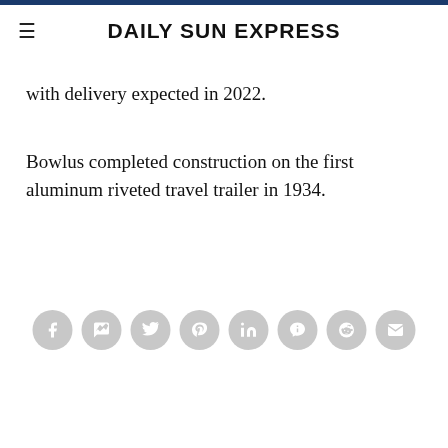DAILY SUN EXPRESS
with delivery expected in 2022.
Bowlus completed construction on the first aluminum riveted travel trailer in 1934.
[Figure (infographic): Row of 8 social media sharing icons (Facebook, Messenger, Twitter, Pinterest, LinkedIn, Viber, Reddit, Email) displayed as grey circles with white symbols]
LEAVE A REPLY
Write your comment..